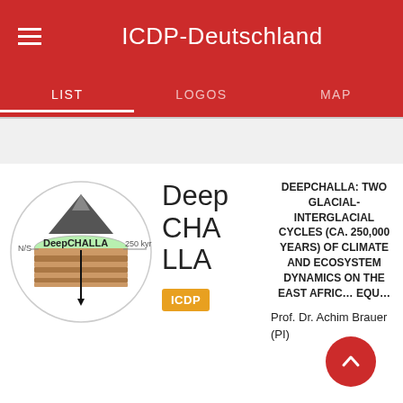ICDP-Deutschland
LIST   LOGOS   MAP
[Figure (logo): DeepCHALLA project logo — a circular diagram showing a cross-section of a lake with a mountain above, sediment layers below, and the label 'DeepCHALLA' with '250 kyr' and 'N/S' annotations]
Deep CHALLA
ICDP
DEEPCHALLA: TWO GLACIAL-INTERGLACIAL CYCLES (CA. 250,000 YEARS) OF CLIMATE AND ECOSYSTEM DYNAMICS ON THE EAST AFRIC… EQU…
Prof. Dr. Achim Brauer (PI)